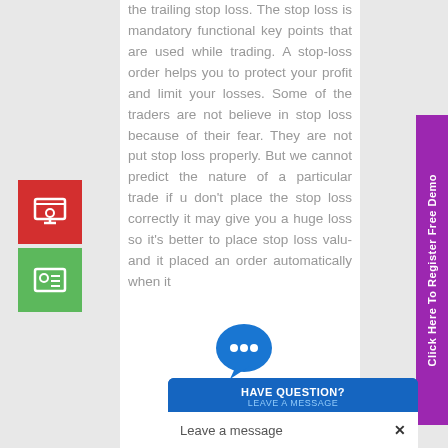the trailing stop loss. The stop loss is mandatory functional key points that are used while trading. A stop-loss order helps you to protect your profit and limit your losses. Some of the traders are not believe in stop loss because of their fear. They are not put stop loss properly. But we cannot predict the nature of a particular trade if u don't place the stop loss correctly it may give you a huge loss so it's better to place stop loss value and it placed an order automatically when it
[Figure (infographic): Left sidebar with red icon box (window/screen icon) and green icon box (contact card icon)]
[Figure (infographic): Right purple vertical sidebar button reading 'Click Here To Register Free Demo']
[Figure (infographic): Chat widget with blue speech bubble icon, header 'HAVE QUESTION? LEAVE A MESSAGE', and input bar 'Leave a message' with X close button]